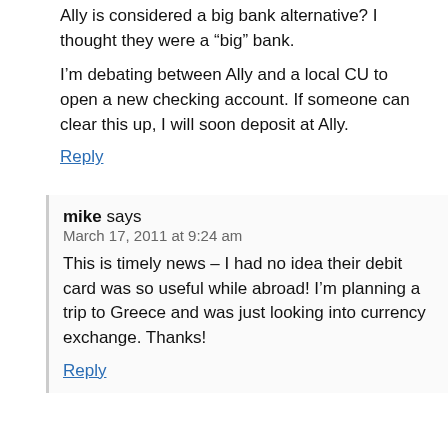Ally is considered a big bank alternative? I thought they were a “big” bank.
I’m debating between Ally and a local CU to open a new checking account. If someone can clear this up, I will soon deposit at Ally.
Reply
mike says
March 17, 2011 at 9:24 am
This is timely news – I had no idea their debit card was so useful while abroad! I’m planning a trip to Greece and was just looking into currency exchange. Thanks!
Reply